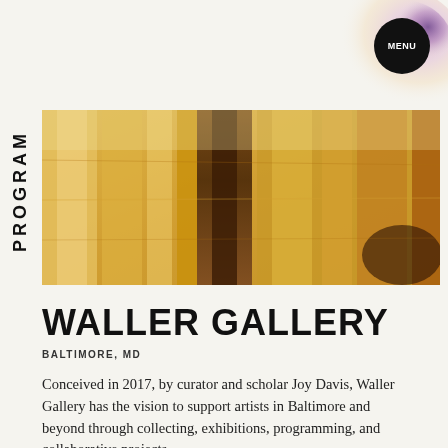MENU
PROGRAM
[Figure (photo): Close-up photograph of wood grain or painted canvas surface with warm golden-brown tones and vertical streaks of darker brown]
WALLER GALLERY
BALTIMORE, MD
Conceived in 2017, by curator and scholar Joy Davis, Waller Gallery has the vision to support artists in Baltimore and beyond through collecting, exhibitions, programming, and collaborative projects.